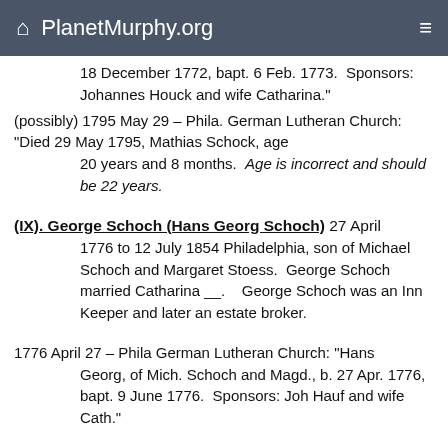PlanetMurphy.org
18 December 1772, bapt. 6 Feb. 1773.  Sponsors: Johannes Houck and wife Catharina."
(possibly) 1795 May 29 – Phila. German Lutheran Church: "Died 29 May 1795, Mathias Schock, age 20 years and 8 months.  Age is incorrect and should be 22 years.
(IX). George Schoch (Hans Georg Schoch)
27 April 1776 to 12 July 1854 Philadelphia, son of Michael Schoch and Margaret Stoess.  George Schoch married Catharina __.    George Schoch was an Inn Keeper and later an estate broker.
1776 April 27 – Phila German Lutheran Church: “Hans Georg, of Mich. Schoch and Magd., b. 27 Apr. 1776, bapt. 9 June 1776.  Sponsors: Joh Hauf and wife Cath."